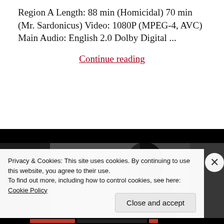Region A Length: 88 min (Homicidal) 70 min (Mr. Sardonicus) Video: 1080P (MPEG-4, AVC) Main Audio: English 2.0 Dolby Digital ...
Continue reading
[Figure (photo): Black and white photograph showing a silhouette/dark figure, partially visible]
Privacy & Cookies: This site uses cookies. By continuing to use this website, you agree to their use.
To find out more, including how to control cookies, see here: Cookie Policy
Close and accept